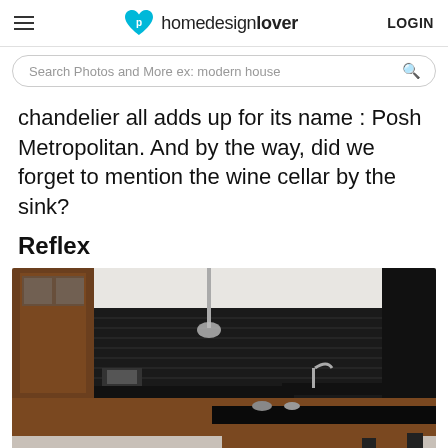homedesignlover  LOGIN
Search Photos and More ex: modern house
chandelier all adds up for its name : Posh Metropolitan. And by the way, did we forget to mention the wine cellar by the sink?
Reflex
[Figure (photo): Modern kitchen with dark black cabinetry on the upper section and warm wood-toned lower cabinets, black granite countertop island with appliances and bar stools.]